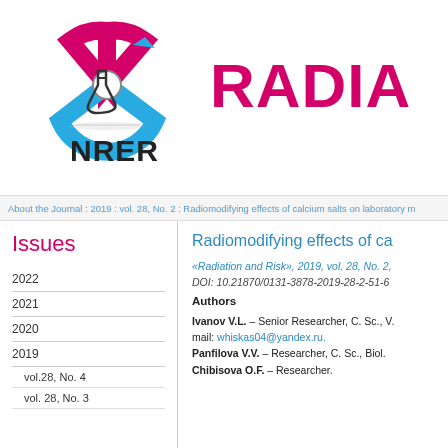[Figure (logo): NRER organization logo with radiation symbol in pink and blue, and text NRER below]
RADIA
About the Journal : 2019 : vol. 28, No. 2 : Radiomodifying effects of calcium salts on laboratory m
Issues
2022
2021
2020
2019
vol.28, No. 4
vol. 28, No. 3
Radiomodifying effects of ca
«Radiation and Risk», 2019, vol. 28, No. 2,
DOI: 10.21870/0131-3878-2019-28-2-51-6
Authors
Ivanov V.L. – Senior Researcher, C. Sc., V. mail: whiskas04@yandex.ru. Panfilova V.V. – Researcher, C. Sc., Biol. Chibisova O.F. – Researcher.